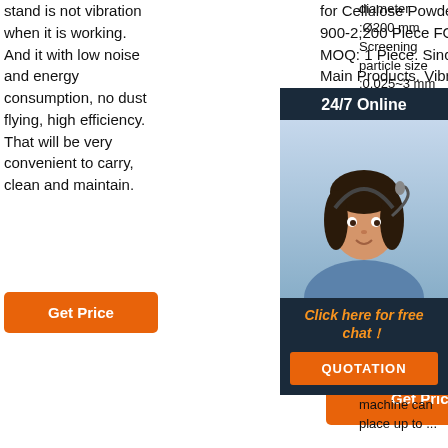stand is not vibration when it is working. And it with low noise and energy consumption, no dust flying, high efficiency. That will be very convenient to carry, clean and maintain.
[Figure (other): Orange 'Get Price' button]
for Cellulose Powder. US 900-2,200 Piece FOB. MOQ: 1 Piece. Since 2017. Main Products. Vibrating Sieve, Vibrating Screen, Screw Conveyor, Bucket Elevator, Rotary Vibrating Screen, Vibro Sifter, Bag Dump Station, Vacuum Feeder, Screenig Machine, Bulk Material Handling Equipment.
[Figure (other): Orange 'Get Price' button (second)]
diameter :Ø200 mm Screening particle size :0.025~3 mm motor power :0.12Kw noise less amp Vibr 1400 supp Feat effic desi any can be sieved; 2) Small size, easy to move without space; 3) The sieve machine can place up to ...
[Figure (other): 24/7 Online chat widget with customer service representative photo, 'Click here for free chat!' text and QUOTATION button]